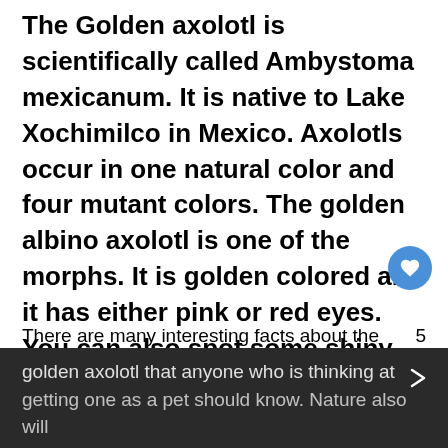The Golden axolotl is scientifically called Ambystoma mexicanum. It is native to Lake Xochimilco in Mexico. Axolotls occur in one natural color and four mutant colors. The golden albino axolotl is one of the morphs. It is golden colored and it has either pink or red eyes. You can also spot some shiny patches on their bodies, gill covers, and legs. Their aesthetic appeal is one of the main reasons why they are chosen as pets.
There are many interesting facts about the golden axolotl that anyone who is thinking at getting one as a pet should know. Nature also will